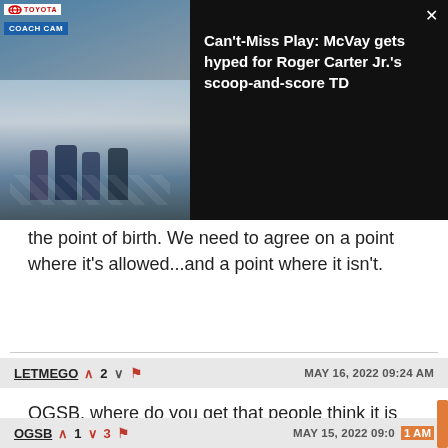[Figure (screenshot): Video thumbnail showing NFL football players on field with coach cam view, Toyota sponsorship logo, and black panel with video title text]
the point of birth. We need to agree on a point where it's allowed...and a point where it isn't.
LETMEGO  ^2  v  [flag]  MAY 16, 2022 09:24 AM
OGSB, where do you get that people think it is fine? But honestly, the thing is - it's not murder. You are allowed to feel however you want, but abortion is not murder.
OGSB  ^1  v3  [flag]  MAY 15, 2022 09:01 AM